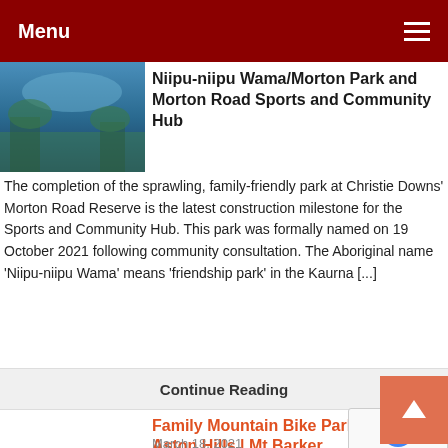Menu
[Figure (photo): Thumbnail photo of park/outdoor area with blue sky and water features]
Niipu-niipu Wama/Morton Park and Morton Road Sports and Community Hub
The completion of the sprawling, family-friendly park at Christie Downs' Morton Road Reserve is the latest construction milestone for the Sports and Community Hub. This park was formally named on 19 October 2021 following community consultation. The Aboriginal name 'Niipu-niipu Wama' means 'friendship park' in the Kaurna [...]
Continue Reading
Family Mountain Bike Park | Aston Hills | Mt Barker Review
March 18, 2021